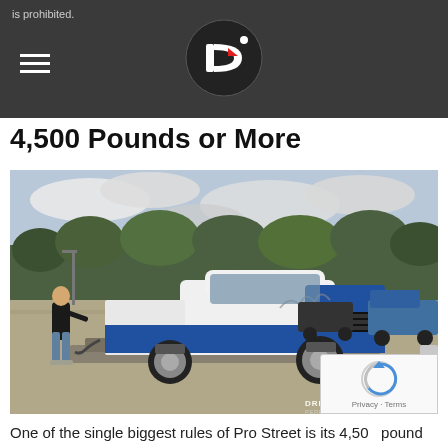is prohibited.
4,500 Pounds or More
[Figure (photo): A white and blue Dodge pickup truck on a weigh scale platform in a parking lot. A person in a black shirt and jeans stands to the left. Other vehicles and trees visible in background. Drivingline watermark in bottom right.]
One of the single biggest rules of Pro Street is its 4,500 pound minimum. Up until three or four years ago, it was